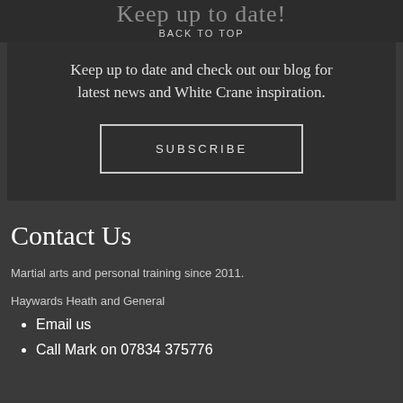Keep up to date!
BACK TO TOP
Keep up to date and check out our blog for latest news and White Crane inspiration.
SUBSCRIBE
Contact Us
Martial arts and personal training since 2011.
Haywards Heath and General
Email us
Call Mark on 07834 375776